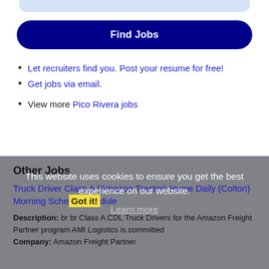[Figure (other): Light blue rounded bar/search field at top]
Find Jobs
Let recruiters find you. Post your resume for free!
Get jobs via email.
View more Pico Rivera jobs
This website uses cookies to ensure you get the best experience on our website.
Learn more
Other Jobs
Got it!
Truck Driver Class A (Amazon Tractor) Home Daily (Colton) Morning Schedule
Description: br br Class A CDL Truck Drivers for the Amazon Freight Partner program AMI Logistics is committed
Company: Amazon Freight Partner